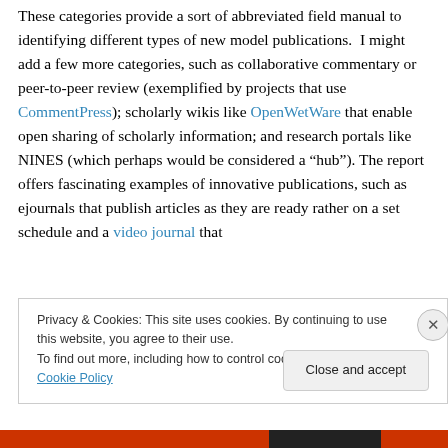These categories provide a sort of abbreviated field manual to identifying different types of new model publications.  I might add a few more categories, such as collaborative commentary or peer-to-peer review (exemplified by projects that use CommentPress); scholarly wikis like OpenWetWare that enable open sharing of scholarly information; and research portals like NINES (which perhaps would be considered a “hub”). The report offers fascinating examples of innovative publications, such as ejournals that publish articles as they are ready rather on a set schedule and a video journal that
Privacy & Cookies: This site uses cookies. By continuing to use this website, you agree to their use.
To find out more, including how to control cookies, see here: Cookie Policy